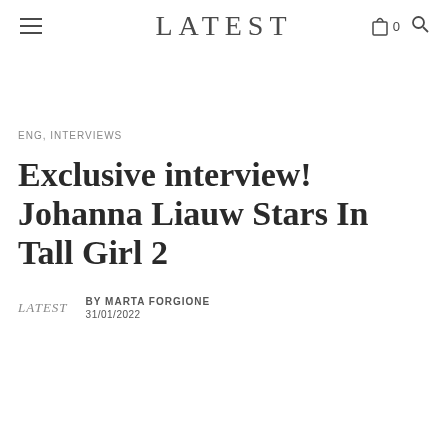LATEST
ENG, INTERVIEWS
Exclusive interview! Johanna Liauw Stars In Tall Girl 2
BY MARTA FORGIONE
31/01/2022